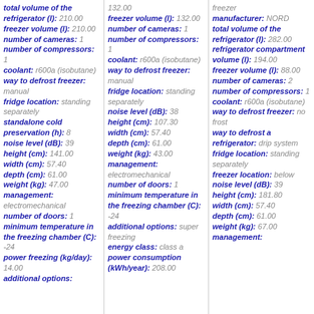total volume of the refrigerator (l): 210.00 | freezer volume (l): 210.00 | number of cameras: 1 | number of compressors: 1 | coolant: r600a (isobutane) | way to defrost freezer: manual | fridge location: standing separately | standalone cold preservation (h): 8 | noise level (dB): 39 | height (cm): 141.00 | width (cm): 57.40 | depth (cm): 61.00 | weight (kg): 47.00 | management: electromechanical | number of doors: 1 | minimum temperature in the freezing chamber (C): -24 | power freezing (kg/day): 14.00 | additional options:
132.00 | freezer volume (l): 132.00 | number of cameras: 1 | number of compressors: 1 | coolant: r600a (isobutane) | way to defrost freezer: manual | fridge location: standing separately | noise level (dB): 38 | height (cm): 107.30 | width (cm): 57.40 | depth (cm): 61.00 | weight (kg): 43.00 | management: electromechanical | number of doors: 1 | minimum temperature in the freezing chamber (C): -24 | additional options: super freezing | energy class: class a | power consumption (kWh/year): 208.00
freezer | manufacturer: NORD | total volume of the refrigerator (l): 282.00 | refrigerator compartment volume (l): 194.00 | freezer volume (l): 88.00 | number of cameras: 2 | number of compressors: 1 | coolant: r600a (isobutane) | way to defrost freezer: no frost | way to defrost a refrigerator: drip system | fridge location: standing separately | freezer location: below | noise level (dB): 39 | height (cm): 181.80 | width (cm): 57.40 | depth (cm): 61.00 | weight (kg): 67.00 | management: